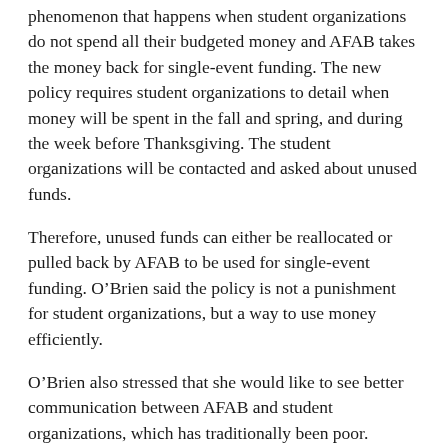phenomenon that happens when student organizations do not spend all their budgeted money and AFAB takes the money back for single-event funding. The new policy requires student organizations to detail when money will be spent in the fall and spring, and during the week before Thanksgiving. The student organizations will be contacted and asked about unused funds.
Therefore, unused funds can either be reallocated or pulled back by AFAB to be used for single-event funding. O'Brien said the policy is not a punishment for student organizations, but a way to use money efficiently.
O'Brien also stressed that she would like to see better communication between AFAB and student organizations, which has traditionally been poor.
“I think student orgs in the past have viewed Student Senate and AFAB as these big, mysterious things that nobody knows about,” O’Brien said.
Senate is trying to increase communication with student organizations with a policy that is still being crafted.